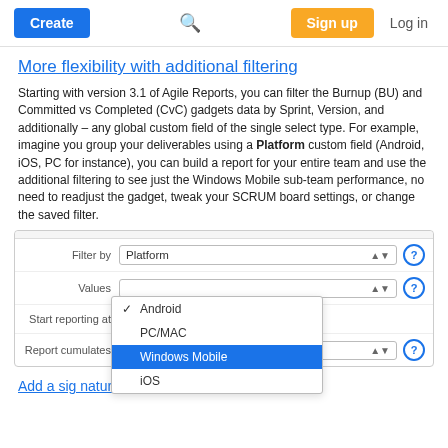Create | Search | Sign up | Log in
More flexibility with additional filtering
Starting with version 3.1 of Agile Reports, you can filter the Burnup (BU) and Committed vs Completed (CvC) gadgets data by Sprint, Version, and additionally – any global custom field of the single select type. For example, imagine you group your deliverables using a Platform custom field (Android, iOS, PC for instance), you can build a report for your entire team and use the additional filtering to see just the Windows Mobile sub-team performance, no need to readjust the gadget, tweak your SCRUM board settings, or change the saved filter.
[Figure (screenshot): UI screenshot showing a filter configuration panel with 'Filter by: Platform' dropdown and a 'Values' dropdown open showing options: Android (checked), PC/MAC, Windows Mobile (highlighted in blue), iOS. Also shows 'Start reporting at' and 'Report cumulates' rows with help icons.]